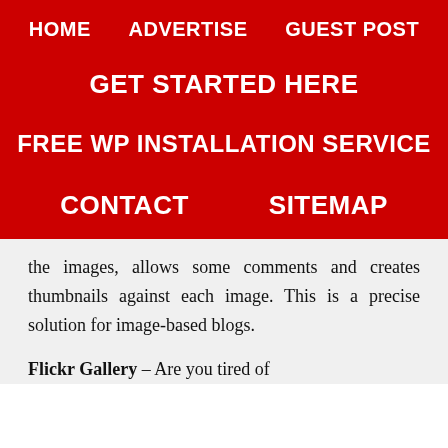HOME   ADVERTISE   GUEST POST
GET STARTED HERE
FREE WP INSTALLATION SERVICE
CONTACT   SITEMAP
the images, allows some comments and creates thumbnails against each image. This is a precise solution for image-based blogs.
Flickr Gallery – Are you tired of